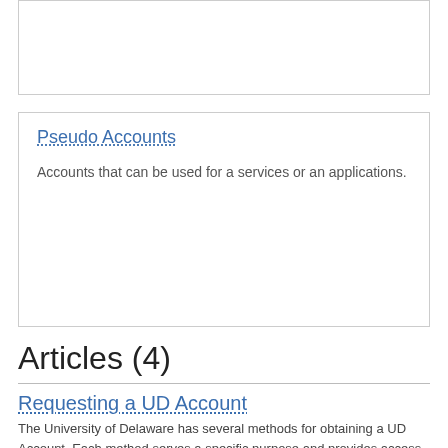Pseudo Accounts
Accounts that can be used for a services or an applications.
Articles (4)
Requesting a UD Account
The University of Delaware has several methods for obtaining a UD Account. Each method serves a specific purpose and provides access to different University resources. This article covers the options available to request.
Set Up Google Authenticator for UD two-factor authentication (2FA) and Microsoft multi-factor authentication (MFA)